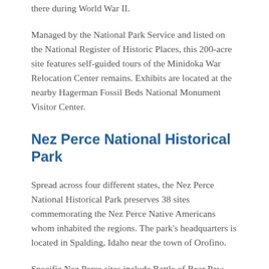there during World War II.
Managed by the National Park Service and listed on the National Register of Historic Places, this 200-acre site features self-guided tours of the Minidoka War Relocation Center remains. Exhibits are located at the nearby Hagerman Fossil Beds National Monument Visitor Center.
Nez Perce National Historical Park
Spread across four different states, the Nez Perce National Historical Park preserves 38 sites commemorating the Nez Perce Native Americans whom inhabited the regions. The park's headquarters is located in Spalding, Idaho near the town of Orofino.
Specific Nez Perce sites include Battle of Bear Paw, Battle of Clearwater, Camp Chopunnish, and many more. Each site features its own story and historical significance – as